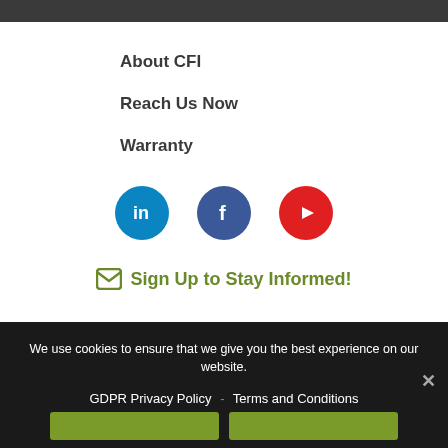About CFI
Reach Us Now
Warranty
[Figure (illustration): Social media icons: LinkedIn (blue circle), Facebook (dark blue circle), YouTube (red circle)]
Sign Up to Stay Informed!
We use cookies to ensure that we give you the best experience on our website.
GDPR Privacy Policy - Terms and Conditions